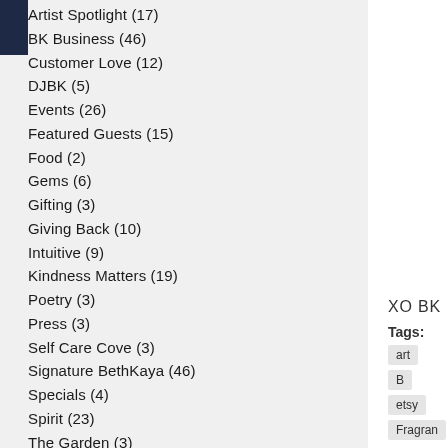Artist Spotlight (17)
BK Business (46)
Customer Love (12)
DJBK (5)
Events (26)
Featured Guests (15)
Food (2)
Gems (6)
Gifting (3)
Giving Back (10)
Intuitive (9)
Kindness Matters (19)
Poetry (3)
Press (3)
Self Care Cove (3)
Signature BethKaya (46)
Specials (4)
Spirit (23)
The Garden (3)
The Holistic Life (18)
Tunes (5)
XO BK
Tags: art B etsy Fragran
Leave a R